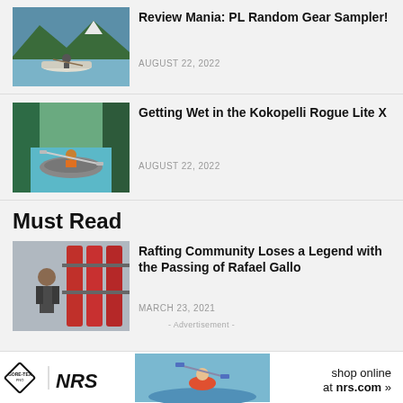[Figure (photo): Person in a white canoe on a calm mountain lake with green trees and mountains in the background]
Review Mania: PL Random Gear Sampler!
AUGUST 22, 2022
[Figure (photo): Person paddling a grey inflatable kayak in clear blue-green water surrounded by lush green canyon walls]
Getting Wet in the Kokopelli Rogue Lite X
AUGUST 22, 2022
Must Read
[Figure (photo): Person standing in front of red kayaks/rafts stored on racks]
Rafting Community Loses a Legend with the Passing of Rafael Gallo
MARCH 23, 2021
- Advertisement -
[Figure (photo): Advertisement banner featuring GORE-TEX PRO and NRS logos with a kayaker doing a trick and text 'shop online at nrs.com']